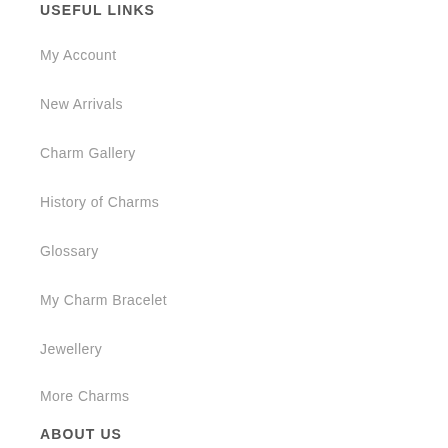USEFUL LINKS
My Account
New Arrivals
Charm Gallery
History of Charms
Glossary
My Charm Bracelet
Jewellery
More Charms
ABOUT US